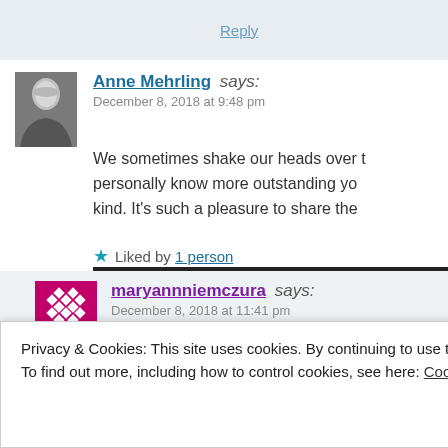Reply
Anne Mehrling says: December 8, 2018 at 9:48 pm
We sometimes shake our heads over t... personally know more outstanding yo... kind. It's such a pleasure to share the...
Liked by 1 person
maryannniemczura says: December 8, 2018 at 11:41 pm
Privacy & Cookies: This site uses cookies. By continuing to use this website, you agree to their use. To find out more, including how to control cookies, see here: Cookie Policy
Close and accept